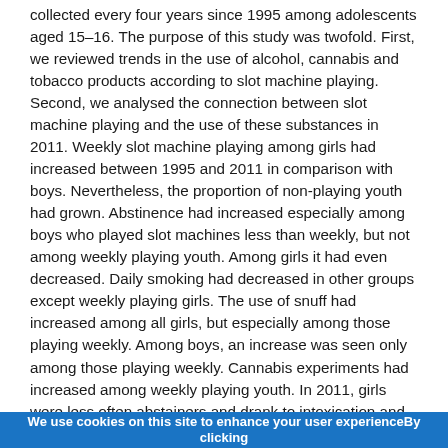collected every four years since 1995 among adolescents aged 15–16. The purpose of this study was twofold. First, we reviewed trends in the use of alcohol, cannabis and tobacco products according to slot machine playing. Second, we analysed the connection between slot machine playing and the use of these substances in 2011. Weekly slot machine playing among girls had increased between 1995 and 2011 in comparison with boys. Nevertheless, the proportion of non-playing youth had grown. Abstinence had increased especially among boys who played slot machines less than weekly, but not among weekly playing youth. Among girls it had even decreased. Daily smoking had decreased in other groups except weekly playing girls. The use of snuff had increased among all girls, but especially among those playing weekly. Among boys, an increase was seen only among those playing weekly. Cannabis experiments had increased among weekly playing youth. In 2011, girls were less often abstainers and drank to intoxication and smoked cigarettes more often than boys regardless of slot machine playing. Only the use snuff was more common among boys. There were no significant differences between genders regarding cannabis use. Among both boys and girls, those who played weekly used every kind
We use cookies on this site to enhance your user experienceBy clicking